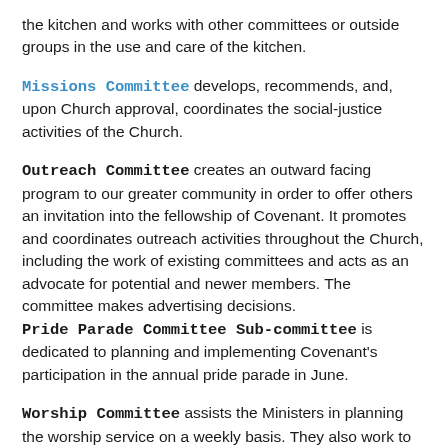the kitchen and works with other committees or outside groups in the use and care of the kitchen.
Missions Committee develops, recommends, and, upon Church approval, coordinates the social-justice activities of the Church.
Outreach Committee creates an outward facing program to our greater community in order to offer others an invitation into the fellowship of Covenant. It promotes and coordinates outreach activities throughout the Church, including the work of existing committees and acts as an advocate for potential and newer members. The committee makes advertising decisions.
Pride Parade Committee Sub-committee is dedicated to planning and implementing Covenant's participation in the annual pride parade in June.
Worship Committee assists the Ministers in planning the worship service on a weekly basis. They also work to promote the arts within our worship experience.
Ushers Sub-committee is responsible for fulfilling the ushering